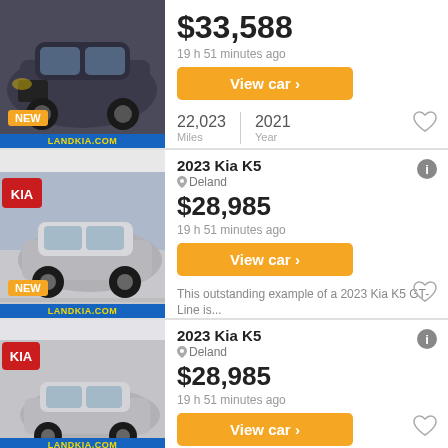[Figure (photo): Dark-colored Kia sedan front view, NEW badge, dealer banner LANDKIA.COM]
$33,588
19 h 51 minutes ago
View car >
22,023 Miles | 2021 Year
[Figure (photo): Silver Kia K5 side view, NEW badge, dealer banner LANDKIA.COM]
2023 Kia K5
Deland
$28,985
19 h 51 minutes ago
View car >
This outstanding example of a 2023 Kia K5 GT-Line is...
[Figure (photo): Silver Kia K5 side view, dealer banner LANDKIA.COM]
2023 Kia K5
Deland
$28,985
19 h 51 minutes ago
View car >